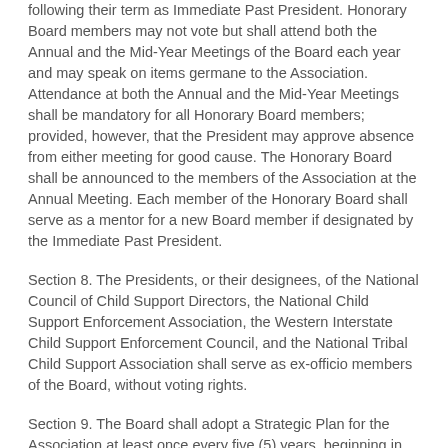following their term as Immediate Past President. Honorary Board members may not vote but shall attend both the Annual and the Mid-Year Meetings of the Board each year and may speak on items germane to the Association. Attendance at both the Annual and the Mid-Year Meetings shall be mandatory for all Honorary Board members; provided, however, that the President may approve absence from either meeting for good cause. The Honorary Board shall be announced to the members of the Association at the Annual Meeting. Each member of the Honorary Board shall serve as a mentor for a new Board member if designated by the Immediate Past President.
Section 8. The Presidents, or their designees, of the National Council of Child Support Directors, the National Child Support Enforcement Association, the Western Interstate Child Support Enforcement Council, and the National Tribal Child Support Association shall serve as ex-officio members of the Board, without voting rights.
Section 9. The Board shall adopt a Strategic Plan for the Association at least once every five (5) years, beginning in 2007.
ARTICLE VI. GENERAL STANDARDS
Section 1. General Standards for Members of the Board of Directors. A member of the Board of Directors shall discharge his or her duties as a member of the Board of Directors and, as the case may be, as